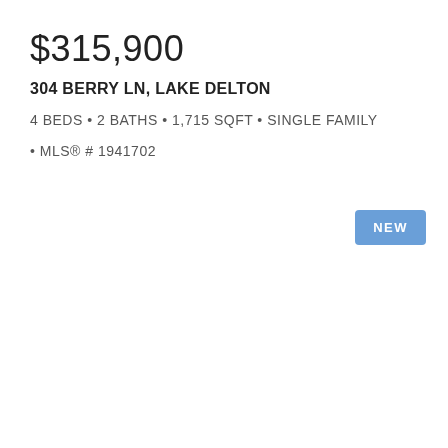$315,900
304 BERRY LN, LAKE DELTON
4 BEDS • 2 BATHS • 1,715 SQFT • SINGLE FAMILY
• MLS® # 1941702
NEW